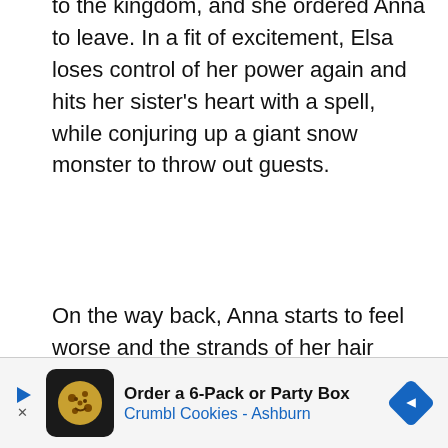to the kingdom, and she ordered Anna to leave. In a fit of excitement, Elsa loses control of her power again and hits her sister's heart with a spell, while conjuring up a giant snow monster to throw out guests.
On the way back, Anna starts to feel worse and the strands of her hair begin to turn white. Kristoff decides to seek help from his troll friends, but the Troll King is unable to help. Only a kiss of true love can save Anna. Kristoff decided to take Anna to Prince Hans to remove the spell.
During this time, Hans and his troops attack Elsa's palace. They manage to capture him... winter
[Figure (other): Advertisement banner for Crumbl Cookies - Ashburn: Order a 6-Pack or Party Box. Shows a cookie logo icon, text, and a blue diamond/arrow navigation icon.]